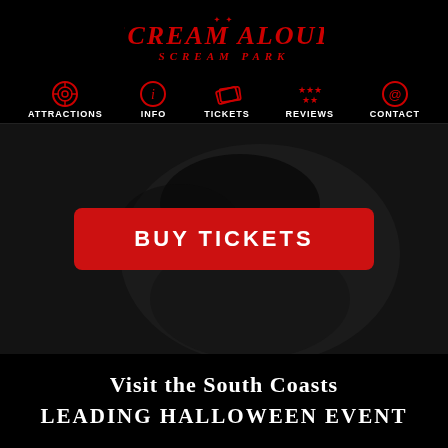[Figure (logo): Scream Aloud Scream Park logo in red stylized horror font on black background]
Attractions | Info | Tickets | Reviews | Contact
[Figure (photo): Dark grayscale close-up of a horror character face with dark eye makeup, the lower half of the face visible]
BUY TICKETS
Visit the South Coasts LEADING HALLOWEEN EVENT